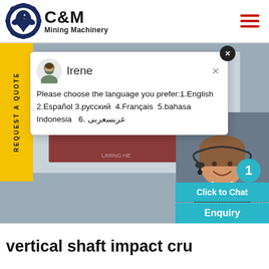[Figure (logo): C&M Mining Machinery logo with eagle gear icon]
[Figure (photo): Website screenshot with yellow REQUEST A QUOTE sidebar tab, industrial mining machinery in background, chat popup from Irene asking language preference, customer service agent photo, blue chat badge with number 1, Click to Chat and Enquiry buttons]
Irene
Please choose the language you prefer:1.English  2.Español 3.русский  4.Français  5.bahasa Indonesia   6. عربسعربى
vertical shaft impact cru